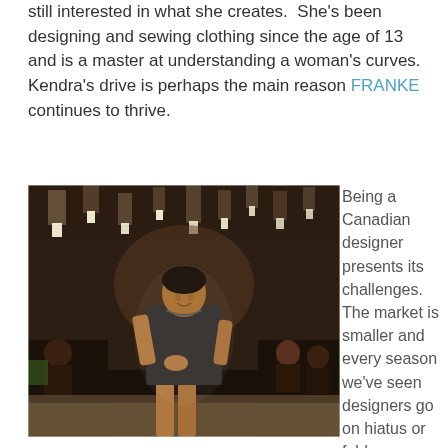still interested in what she creates.  She's been designing and sewing clothing since the age of 13 and is a master at understanding a woman's curves.  Kendra's drive is perhaps the main reason FRANKE continues to thrive.
[Figure (photo): A model wearing a dark patterned short dress walks on a runway or at a fashion event. The venue has hanging pendant lights and seated audience members in the background.]
Being a Canadian designer presents its challenges.  The market is smaller and every season we've seen designers go on hiatus or fold completely.   She has proven that she has what it takes to keep ahead of the rest.  This business demands a designer to be on top of creativity